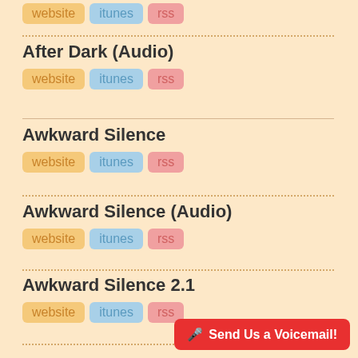website  itunes  rss (top partial entry)
After Dark (Audio)
website  itunes  rss
Awkward Silence
website  itunes  rss
Awkward Silence (Audio)
website  itunes  rss
Awkward Silence 2.1
website  itunes  rss
Awkward Silence 2.1 (Audio)
website  itunes  rss
Burn Unit
website  itunes  rss
Send Us a Voicemail!